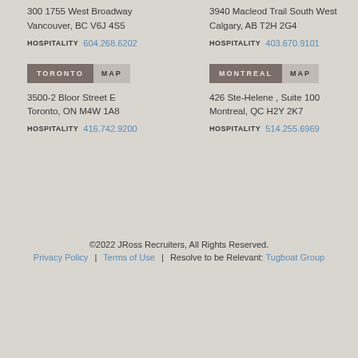300 1755 West Broadway
Vancouver, BC V6J 4S5
HOSPITALITY 604.268.6202
3940 Macleod Trail South West
Calgary, AB T2H 2G4
HOSPITALITY 403.670.9101
TORONTO MAP
3500-2 Bloor Street E
Toronto, ON M4W 1A8
HOSPITALITY 416.742.9200
MONTREAL MAP
426 Ste-Helene , Suite 100
Montreal, QC H2Y 2K7
HOSPITALITY 514.255.6969
©2022 JRoss Recruiters, All Rights Reserved.
Privacy Policy | Terms of Use | Resolve to be Relevant: Tugboat Group